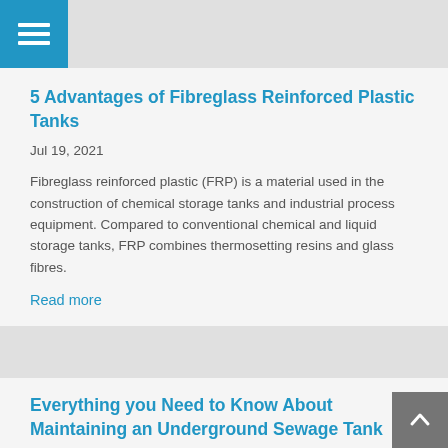[Figure (other): Blue hamburger menu button in top-left corner]
5 Advantages of Fibreglass Reinforced Plastic Tanks
Jul 19, 2021
Fibreglass reinforced plastic (FRP) is a material used in the construction of chemical storage tanks and industrial process equipment. Compared to conventional chemical and liquid storage tanks, FRP combines thermosetting resins and glass fibres.
Read more
Everything you Need to Know About Maintaining an Underground Sewage Tank
Jul 07, 2021
While it's not the most glamorous topic to read about,
[Figure (other): Grey scroll-to-top button with upward arrow chevron, bottom-right corner]